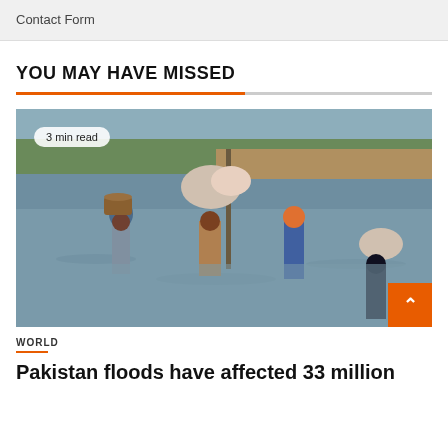Contact Form
YOU MAY HAVE MISSED
[Figure (photo): People wading through floodwaters carrying large bundles and baskets on their heads and backs. The floodwater is grey-brown and reaches waist height. In the background are trees and a mud-brick wall. A badge reads '3 min read'.]
WORLD
Pakistan floods have affected 33 million